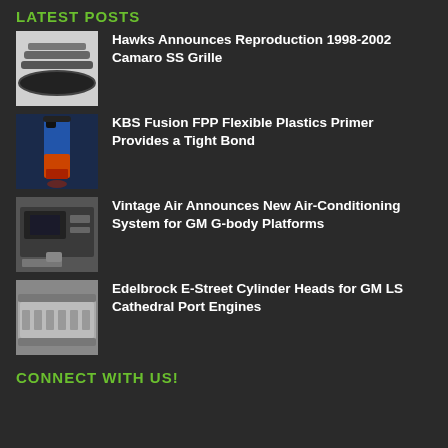LATEST POSTS
Hawks Announces Reproduction 1998-2002 Camaro SS Grille
KBS Fusion FPP Flexible Plastics Primer Provides a Tight Bond
Vintage Air Announces New Air-Conditioning System for GM G-body Platforms
Edelbrock E-Street Cylinder Heads for GM LS Cathedral Port Engines
CONNECT WITH US!